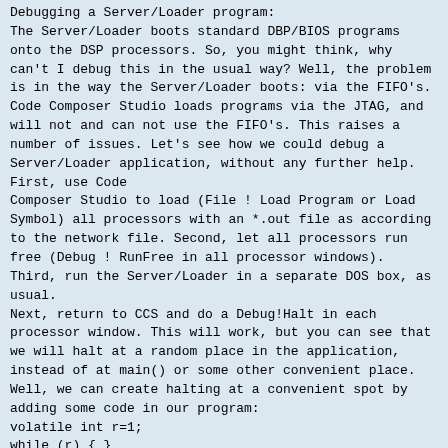Debugging a Server/Loader program:
The Server/Loader boots standard DBP/BIOS programs onto the DSP processors. So, you might think, why can't I debug this in the usual way? Well, the problem is in the way the Server/Loader boots: via the FIFO's. Code Composer Studio loads programs via the JTAG, and will not and can not use the FIFO's. This raises a number of issues. Let's see how we could debug a Server/Loader application, without any further help. First, use Code
Composer Studio to load (File ! Load Program or Load Symbol) all processors with an *.out file as according to the network file. Second, let all processors run free (Debug ! RunFree in all processor windows). Third, run the Server/Loader in a separate DOS box, as usual.
Next, return to CCS and do a Debug!Halt in each processor window. This will work, but you can see that we will halt at a random place in the application, instead of at main() or some other convenient place. Well, we can create halting at a convenient spot by adding some code in our program:
volatile int r=1;
while (r) { }
Place this code at the place you want to halt. But it must be placed after the call to bootloader(). Otherwise only 1 processor will get booted. And it must be done for all processors that we want to halt at a convenient position. Let's assume we put the extra code in the main() routine. Then:
main()